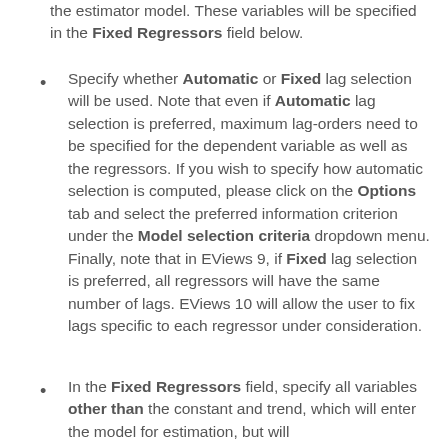the estimator model. These variables will be specified in the Fixed Regressors field below.
Specify whether Automatic or Fixed lag selection will be used. Note that even if Automatic lag selection is preferred, maximum lag-orders need to be specified for the dependent variable as well as the regressors. If you wish to specify how automatic selection is computed, please click on the Options tab and select the preferred information criterion under the Model selection criteria dropdown menu. Finally, note that in EViews 9, if Fixed lag selection is preferred, all regressors will have the same number of lags. EViews 10 will allow the user to fix lags specific to each regressor under consideration.
In the Fixed Regressors field, specify all variables other than the constant and trend, which will enter the model for estimation, but will